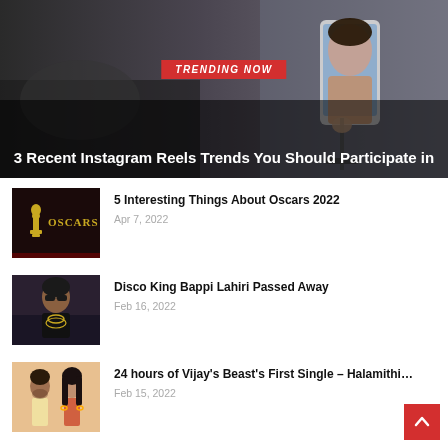[Figure (photo): Hero banner image showing a person filming with a smartphone on a gimbal. Red 'TRENDING NOW' badge overlaid on image with white bold title text below.]
3 Recent Instagram Reels Trends You Should Participate in
[Figure (photo): Oscars 2022 thumbnail image showing Oscar statuette and OSCARS text on dark background]
5 Interesting Things About Oscars 2022
Apr 7, 2022
[Figure (photo): Photo of Bappi Lahiri wearing sunglasses and gold chains]
Disco King Bappi Lahiri Passed Away
Feb 16, 2022
[Figure (photo): Photo of Vijay and actress from Halamithi promotional material]
24 hours of Vijay's Beast's First Single – Halamithi…
Feb 15, 2022